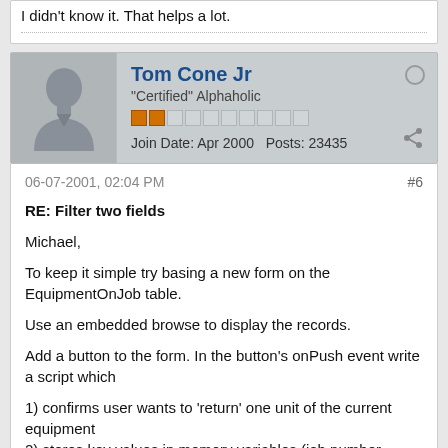I didn't know it. That helps a lot.
Tom Cone Jr
"Certified" Alphaholic
Join Date: Apr 2000    Posts: 23435
06-07-2001, 02:04 PM    #6
RE: Filter two fields
Michael,
To keep it simple try basing a new form on the EquipmentOnJob table.
Use an embedded browse to display the records.
Add a button to the form. In the button's onPush event write a script which
1) confirms user wants to 'return' one unit of the current equipment
2) stores key values in memory variables (job number, equipment item number etc.)
3) opens the returns table, sets an index so you can fetch_find the desired item